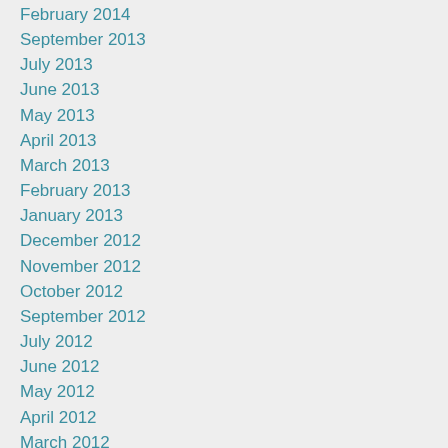February 2014
September 2013
July 2013
June 2013
May 2013
April 2013
March 2013
February 2013
January 2013
December 2012
November 2012
October 2012
September 2012
July 2012
June 2012
May 2012
April 2012
March 2012
February 2012
January 2012
December 2011
November 2011